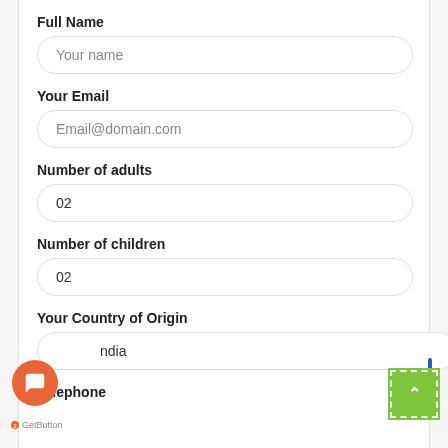Full Name
Your name
Your Email
Email@domain.com
Number of adults
02
Number of children
02
Your Country of Origin
ndia
Telephone
[Figure (other): Orange chat/support button (circular) with speech bubble icon]
[Figure (other): Green dashed stamp/scroll-to-top button with caret up symbol]
GetButton